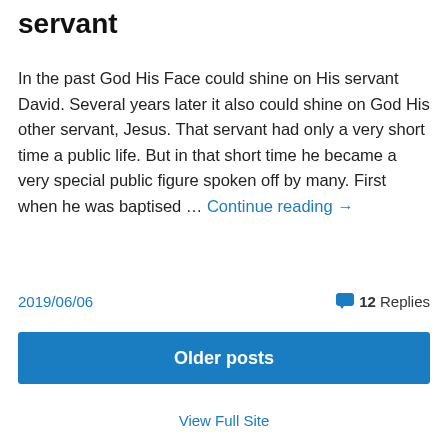servant
In the past God His Face could shine on His servant David. Several years later it also could shine on God His other servant, Jesus. That servant had only a very short time a public life. But in that short time he became a very special public figure spoken off by many. First when he was baptised … Continue reading →
2019/06/06   💬 12 Replies
Older posts
View Full Site